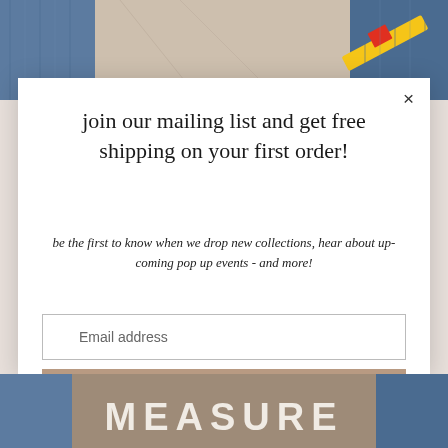[Figure (photo): Top portion of webpage showing denim jeans and leather material with a tape measure, partially obscured by modal overlay]
join our mailing list and get free shipping on your first order!
be the first to know when we drop new collections, hear about up-coming pop up events - and more!
Email address
Subscribe
[Figure (photo): Bottom portion of webpage showing denim and tan materials with large white bold text reading MEASURE]